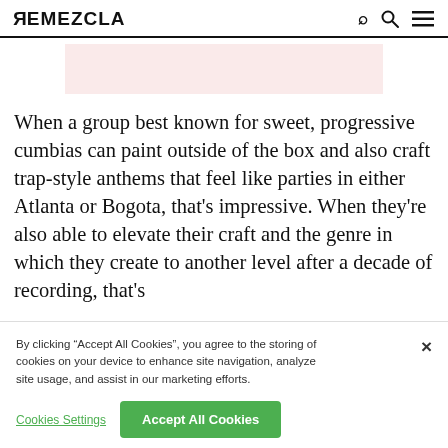REMEZCLA
[Figure (other): Pink/light banner ad placeholder rectangle]
When a group best known for sweet, progressive cumbias can paint outside of the box and also craft trap-style anthems that feel like parties in either Atlanta or Bogota, that's impressive. When they're also able to elevate their craft and the genre in which they create to another level after a decade of recording, that's
By clicking “Accept All Cookies”, you agree to the storing of cookies on your device to enhance site navigation, analyze site usage, and assist in our marketing efforts.
Cookies Settings
Accept All Cookies